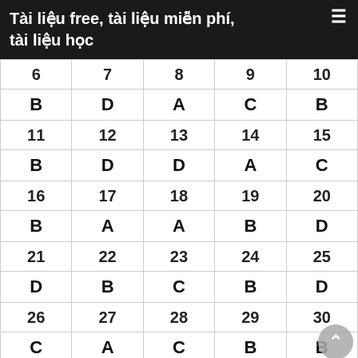Tài liệu free, tài liệu miễn phí, tài liệu học
| (col1) | (col2) | (col3) | (col4) | (col5) |
| --- | --- | --- | --- | --- |
| 6 | 7 | 8 | 9 | 10 |
| B | D | A | C | B |
| 11 | 12 | 13 | 14 | 15 |
| B | D | D | A | C |
| 16 | 17 | 18 | 19 | 20 |
| B | A | A | B | D |
| 21 | 22 | 23 | 24 | 25 |
| D | B | C | B | D |
| 26 | 27 | 28 | 29 | 30 |
| C | A | C | B | B |
| 31 | 32 | 33 | 34 | 35 |